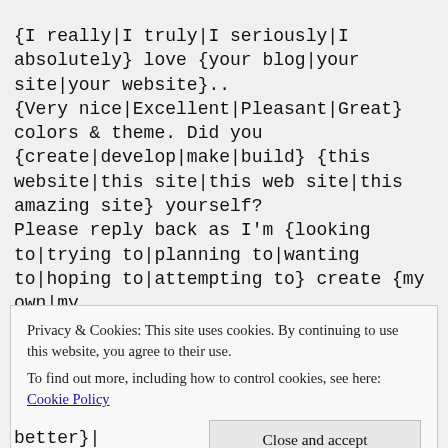{I really|I truly|I seriously|I absolutely} love {your blog|your site|your website}.. {Very nice|Excellent|Pleasant|Great} colors & theme. Did you {create|develop|make|build} {this website|this site|this web site|this amazing site} yourself? Please reply back as I'm {looking to|trying to|planning to|wanting to|hoping to|attempting to} create {my own|my very own|my own personal} {blog|website|site} and {would like to|want to|would love to} {know|learn|find out}
Privacy & Cookies: This site uses cookies. By continuing to use this website, you agree to their use.
To find out more, including how to control cookies, see here: Cookie Policy
better}|